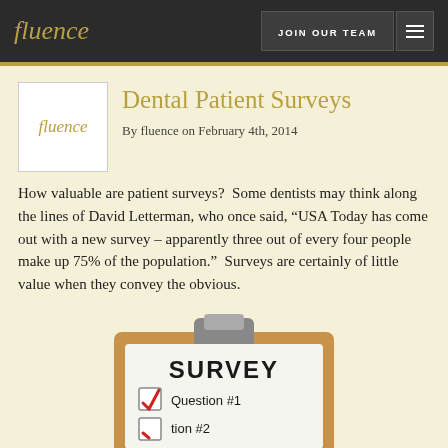fluence   JOIN OUR TEAM
Dental Patient Surveys
By fluence on February 4th, 2014
How valuable are patient surveys?  Some dentists may think along the lines of David Letterman, who once said, “USA Today has come out with a new survey – apparently three out of every four people make up 75% of the population.”  Surveys are certainly of little value when they convey the obvious.
[Figure (illustration): A clipboard with a paper titled SURVEY showing Question #1 with a red checkmark and Question #2 partially visible]